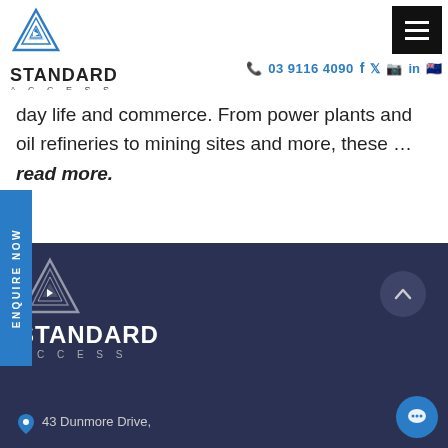[Figure (logo): Standard Access logo with blue triangle icon, bold text STANDARD ACCESS]
03 9116 4090
day life and commerce. From power plants and oil refineries to mining sites and more, these ...read more.
[Figure (other): ENQUIRE NOW vertical sidebar tab in blue]
[Figure (logo): Standard Access footer logo white on dark navy background]
43 Dunmore Drive,